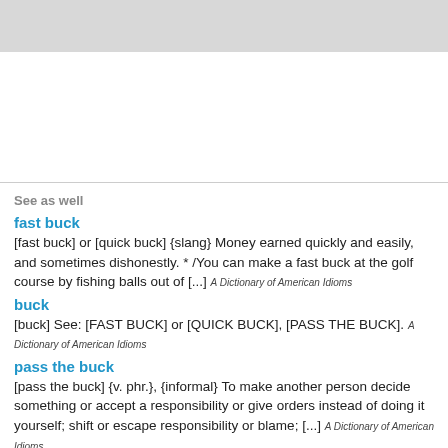[Figure (other): Gray banner bar at top of page]
See as well
fast buck
[fast buck] or [quick buck] {slang} Money earned quickly and easily, and sometimes dishonestly. * /You can make a fast buck at the golf course by fishing balls out of [...] A Dictionary of American Idioms
buck
[buck] See: [FAST BUCK] or [QUICK BUCK], [PASS THE BUCK]. A Dictionary of American Idioms
pass the buck
[pass the buck] {v. phr.}, {informal} To make another person decide something or accept a responsibility or give orders instead of doing it yourself; shift or escape responsibility or blame; [...] A Dictionary of American Idioms
Slang is